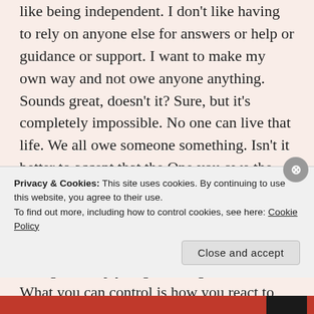like being independent. I don't like having to rely on anyone else for answers or help or guidance or support. I want to make my own way and not owe anyone anything. Sounds great, doesn't it? Sure, but it's completely impossible. No one can live that life. We all owe someone something. Isn't it better to accept that the One you owe the most to is the Lord?
You don't control your life. Your life is bigger than you are, and the only one strong enough to help you get through it is God. What you can control is how you react to events in your life. You can choose to
[Figure (screenshot): Cookie consent banner with close (X) button, privacy and cookies notice text with Cookie Policy link, and a 'Close and accept' button.]